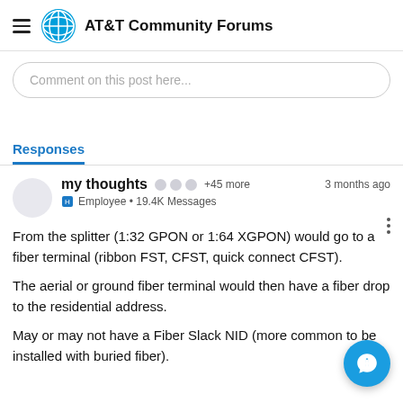AT&T Community Forums
Comment on this post here...
Responses
my thoughts  +45 more  3 months ago
Employee • 19.4K Messages
From the splitter (1:32 GPON or 1:64 XGPON) would go to a fiber terminal (ribbon FST, CFST, quick connect CFST).

The aerial or ground fiber terminal would then have a fiber drop to the residential address.
May or may not have a Fiber Slack NID (more common to be installed with buried fiber).